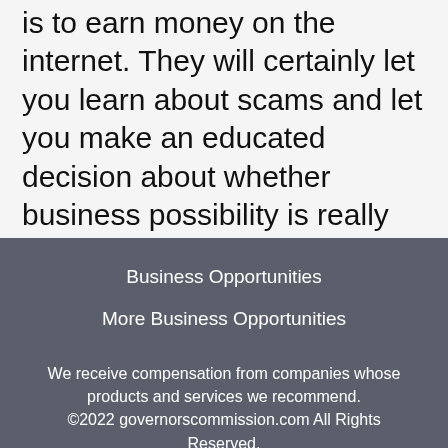is to earn money on the internet. They will certainly let you learn about scams and let you make an educated decision about whether business possibility is really worth the money or otherwise. If you come across a web company chance you have an interest in that does not seem genuine, don't neglect to research study it prior to jumping into it.
Business Opportunities
More Business Opportunities
We receive compensation from companies whose products and services we recommend. ©2022 governorscommission.com All Rights Reserved.